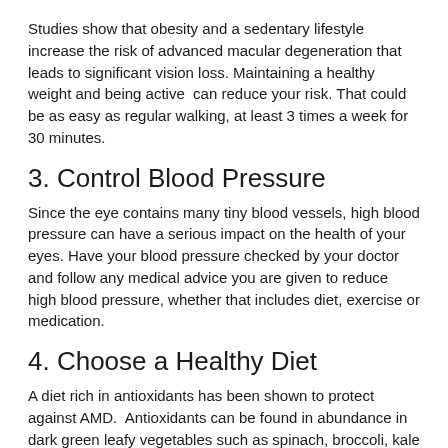Studies show that obesity and a sedentary lifestyle increase the risk of advanced macular degeneration that leads to significant vision loss. Maintaining a healthy weight and being active  can reduce your risk. That could be as easy as regular walking, at least 3 times a week for 30 minutes.
3. Control Blood Pressure
Since the eye contains many tiny blood vessels, high blood pressure can have a serious impact on the health of your eyes. Have your blood pressure checked by your doctor and follow any medical advice you are given to reduce high blood pressure, whether that includes diet, exercise or medication.
4. Choose a Healthy Diet
A diet rich in antioxidants has been shown to protect against AMD.  Antioxidants can be found in abundance in dark green leafy vegetables such as spinach, broccoli, kale and collard greens, as well as orange fruits and vegetables such as peppers, oranges, mango and cantaloupe.  Eating a wide range of fresh fruits and vegetables, 5-9 servings a day, as well as fish, which